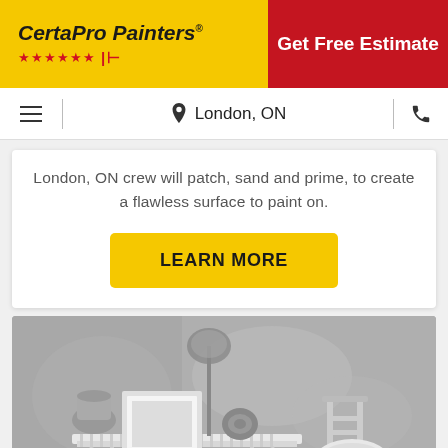[Figure (logo): CertaPro Painters logo with yellow background, red stars, and brand name in italic bold text]
Get Free Estimate
London, ON
London, ON crew will patch, sand and prime, to create a flawless surface to paint on.
LEARN MORE
[Figure (photo): Black and white interior photo showing a white wooden shelf/table with a picture frame, decorative lamp, shell ornament, and a chair with cushion against a textured gray wall]